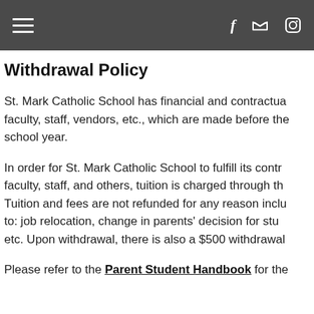Navigation bar with hamburger menu, Facebook, Twitter, and Instagram icons
Withdrawal Policy
St. Mark Catholic School has financial and contractual obligations to faculty, staff, vendors, etc., which are made before the school year.
In order for St. Mark Catholic School to fulfill its contractual obligations to faculty, staff, and others, tuition is charged through the school year. Tuition and fees are not refunded for any reason including but not limited to: job relocation, change in parents' decision for student's school, etc. Upon withdrawal, there is also a $500 withdrawal fee.
Please refer to the Parent Student Handbook for the...